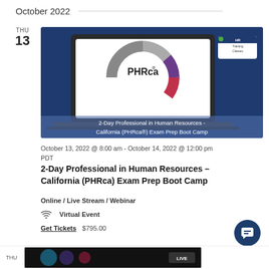October 2022
THU
13
[Figure (screenshot): Laptop displaying PHRca® logo with colorful ring graphic on dark blue background. Text overlay: '2-Day Professional in Human Resources - California (PHRca®) Exam Prep Boot Camp'. HR Training Classes logo in top right.]
October 13, 2022 @ 8:00 am - October 14, 2022 @ 12:00 pm PDT
2-Day Professional in Human Resources – California (PHRca) Exam Prep Boot Camp
Online / Live Stream / Webinar
Virtual Event
Get Tickets   $795.00